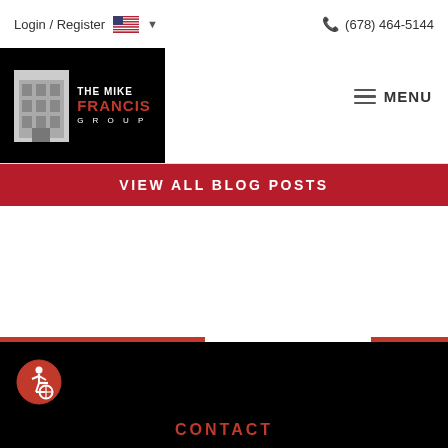Login / Register  (678) 464-5144
[Figure (logo): The Mike Francis Group logo — black background with building photo and stylized text]
MENU
VIEW ALL BLOG POSTS
[Figure (illustration): Accessibility/wheelchair icon in red circle]
CONTACT